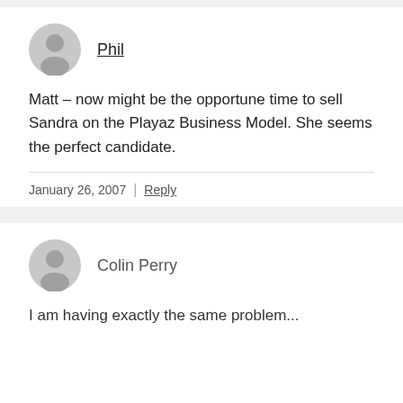Phil
Matt – now might be the opportune time to sell Sandra on the Playaz Business Model. She seems the perfect candidate.
January 26, 2007 | Reply
Colin Perry
I am having exactly the same problem...